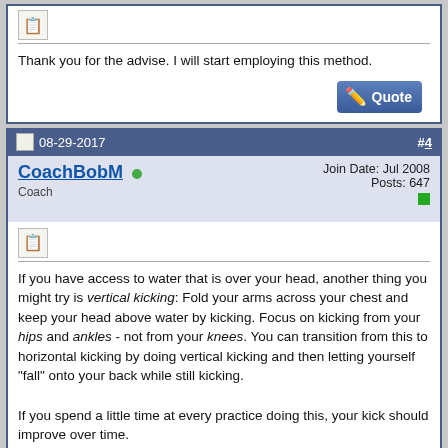Thank you for the advise. I will start employing this method.
08-29-2017 #4
CoachBobM
Coach
Join Date: Jul 2008
Posts: 647
If you have access to water that is over your head, another thing you might try is vertical kicking: Fold your arms across your chest and keep your head above water by kicking. Focus on kicking from your hips and ankles - not from your knees. You can transition from this to horizontal kicking by doing vertical kicking and then letting yourself "fall" onto your back while still kicking.

If you spend a little time at every practice doing this, your kick should improve over time.

Bob
09-13-2017 #5